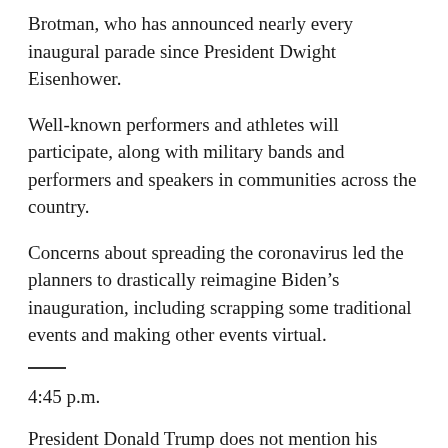Brotman, who has announced nearly every inaugural parade since President Dwight Eisenhower.
Well-known performers and athletes will participate, along with military bands and performers and speakers in communities across the country.
Concerns about spreading the coronavirus led the planners to drastically reimagine Biden’s inauguration, including scrapping some traditional events and making other events virtual.
4:45 p.m.
President Donald Trump does not mention his successor, Democrat Joe Biden, by name in his farewell address.
Trump refers to the “next” and “new” administration in the nearly 20-minute speech taped in the White House Blue